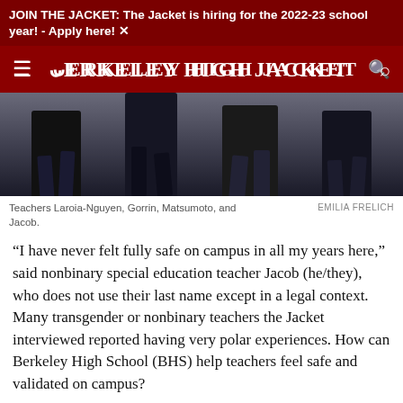JOIN THE JACKET: The Jacket is hiring for the 2022-23 school year! - Apply here!
BERKELEY HIGH JACKET
[Figure (photo): Photo of four teachers (Laroia-Nguyen, Gorrin, Matsumoto, and Jacob) walking on campus, showing their lower bodies from waist down.]
Teachers Laroia-Nguyen, Gorrin, Matsumoto, and Jacob.
EMILIA FRELICH
“I have never felt fully safe on campus in all my years here,” said nonbinary special education teacher Jacob (he/they), who does not use their last name except in a legal context. Many transgender or nonbinary teachers the Jacket interviewed reported having very polar experiences. How can Berkeley High School (BHS) help teachers feel safe and validated on campus?
Jacob talked about his very mixed experience as a